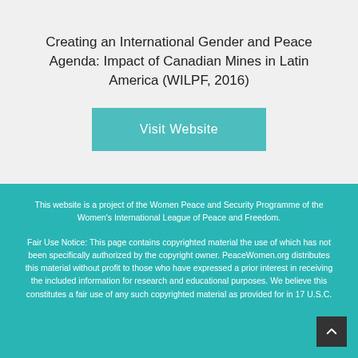Creating an International Gender and Peace Agenda: Impact of Canadian Mines in Latin America (WILPF, 2016)
Visit Website
This website is a project of the Women Peace and Security Programme of the Women's International League of Peace and Freedom.
Fair Use Notice: This page contains copyrighted material the use of which has not been specifically authorized by the copyright owner. PeaceWomen.org distributes this material without profit to those who have expressed a prior interest in receiving the included information for research and educational purposes. We believe this constitutes a fair use of any such copyrighted material as provided for in 17 U.S.C.